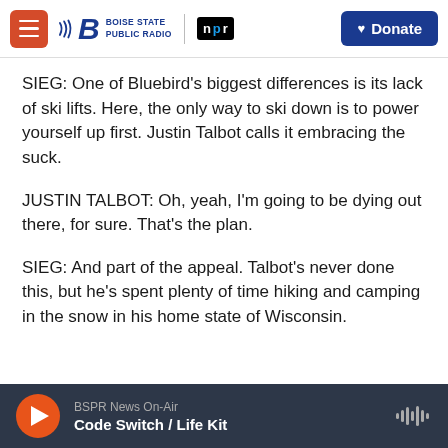Boise State Public Radio / NPR — Donate
SIEG: One of Bluebird's biggest differences is its lack of ski lifts. Here, the only way to ski down is to power yourself up first. Justin Talbot calls it embracing the suck.
JUSTIN TALBOT: Oh, yeah, I'm going to be dying out there, for sure. That's the plan.
SIEG: And part of the appeal. Talbot's never done this, but he's spent plenty of time hiking and camping in the snow in his home state of Wisconsin.
BSPR News On-Air — Code Switch / Life Kit